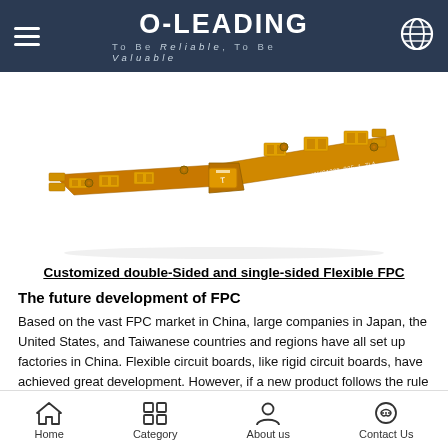O-LEADING — To Be Reliable, To Be Valuable
[Figure (photo): Flexible printed circuit board (FPC) in a boomerang/V-shape, orange/amber colored with white circuit traces and SMD components, on white background.]
Customized double-Sided and single-sided Flexible FPC
The future development of FPC
Based on the vast FPC market in China, large companies in Japan, the United States, and Taiwanese countries and regions have all set up factories in China. Flexible circuit boards, like rigid circuit boards, have achieved great development. However, if a new product follows the rule of "start-development-climax-decline-elimination", FPC is now in the area between climax and decline. Before there is a product that can replace flexible boards, flexible boards must
Home  Category  About us  Contact Us